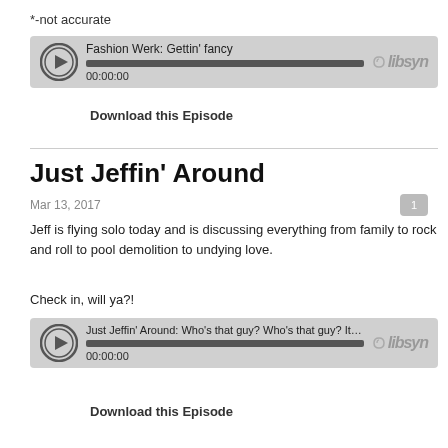*-not accurate
[Figure (screenshot): Libsyn audio player for 'Fashion Werk: Gettin' fancy' showing play button, progress bar at 00:00:00]
Download this Episode
Just Jeffin' Around
Mar 13, 2017
Jeff is flying solo today and is discussing everything from family to rock and roll to pool demolition to undying love.
Check in, will ya?!
[Figure (screenshot): Libsyn audio player for 'Just Jeffin' Around: Who's that guy? Who's that guy? It's Jeff!' showing play button, progress bar at 00:00:00]
Download this Episode